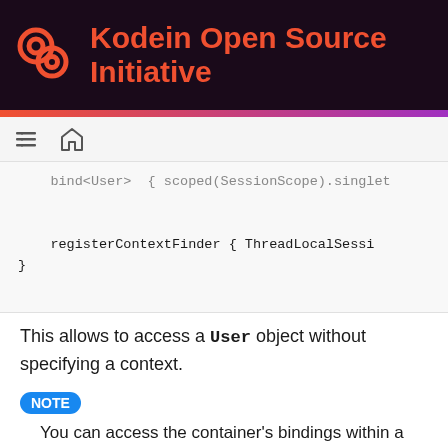Kodein Open Source Initiative
[Figure (screenshot): Code block showing bind<User> { scoped(SessionScope).singleton ... registerContextFinder { ThreadLocalSessi... }]
This allows to access a User object without specifying a context.
NOTE
You can access the container's bindings within a context finder:
Example:
enum class Env { DEBUG, PRODUCTION }